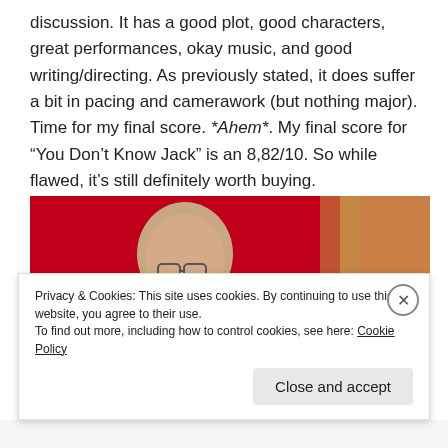discussion. It has a good plot, good characters, great performances, okay music, and good writing/directing. As previously stated, it does suffer a bit in pacing and camerawork (but nothing major). Time for my final score. *Ahem*. My final score for “You Don’t Know Jack” is an 8,82/10. So while flawed, it’s still definitely worth buying.
[Figure (photo): Photo of a smiling bald man with glasses in front of a red background, with large yellow bold text overlay reading 'BUY IT!']
Privacy & Cookies: This site uses cookies. By continuing to use this website, you agree to their use.
To find out more, including how to control cookies, see here: Cookie Policy
Close and accept